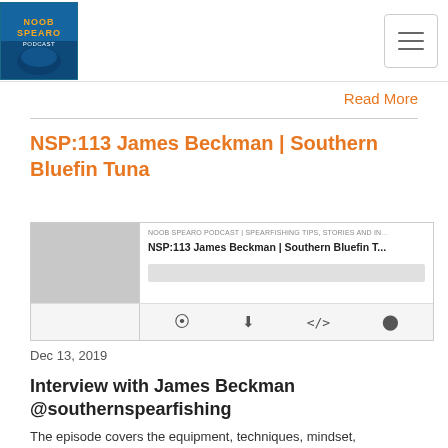Noob Spearo Podcast logo and navigation menu
Read More
NSP:113 James Beckman | Southern Bluefin Tuna
[Figure (screenshot): Podcast embed player showing NOOB SPEARO PODCAST | SPEARFISHING TIPS, STORIES AND IN... with title NSP:113 James Beckman | Southern Bluefin T... and playback controls]
Dec 13, 2019
Interview with James Beckman @southernspearfishing
The episode covers the equipment, techniques, mindset, buddy system and personal lessons learned by an avid